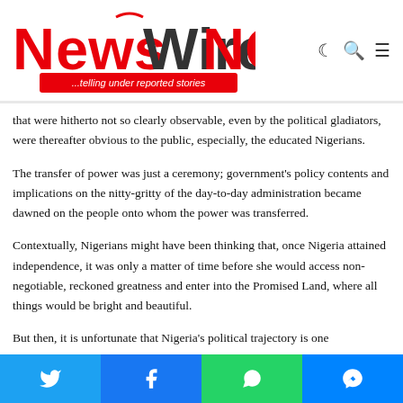NewsWireNGR ...telling under reported stories
that were hitherto not so clearly observable, even by the political gladiators, were thereafter obvious to the public, especially, the educated Nigerians.
The transfer of power was just a ceremony; government's policy contents and implications on the nitty-gritty of the day-to-day administration became dawned on the people onto whom the power was transferred.
Contextually, Nigerians might have been thinking that, once Nigeria attained independence, it was only a matter of time before she would access non-negotiable, reckoned greatness and enter into the Promised Land, where all things would be bright and beautiful.
But then, it is unfortunate that Nigeria's political trajectory is one…